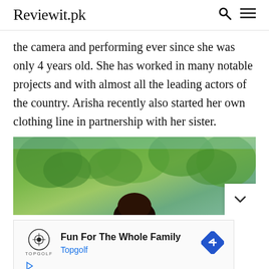Reviewit.pk
the camera and performing ever since she was only 4 years old. She has worked in many notable projects and with almost all the leading actors of the country. Arisha recently also started her own clothing line in partnership with her sister.
[Figure (photo): Outdoor photo with green trees in background, person visible at bottom center]
[Figure (infographic): Advertisement for Topgolf: Fun For The Whole Family with Topgolf logo and navigation arrow icon]